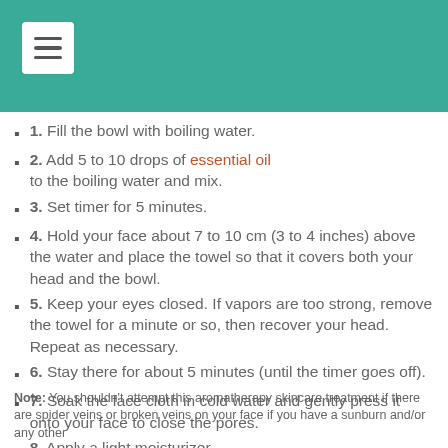[Figure (other): Teal header bar with white hamburger menu button]
1. Fill the bowl with boiling water.
2. Add 5 to 10 drops of essential oil to the boiling water and mix.
3. Set timer for 5 minutes.
4. Hold your face about 7 to 10 cm (3 to 4 inches) above the water and place the towel so that it covers both your head and the bowl.
5. Keep your eyes closed. If vapors are too strong, remove the towel for a minute or so, then recover your head. Repeat as necessary.
6. Stay there for about 5 minutes (until the timer goes off).
7. Soak the face cloth in cold water and gently press it onto your face to close the pores.
8. Apply a light moisturizer.
Note: You shouldn't attempt this aromatherapy skincare treatment if there are spider veins or broken veins on your face if you have a sunburn and/or any other